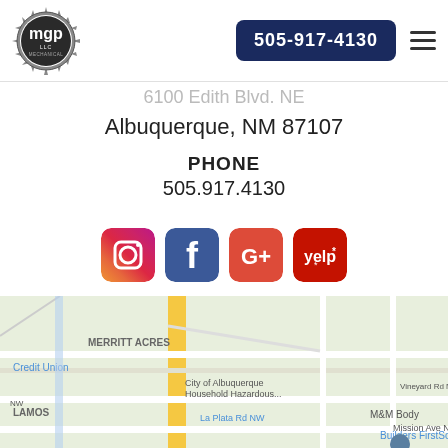[Figure (logo): MGP Mechanical LLC logo — gear/sun icon with stylized MGP letters]
505-917-4130
6100 Edith Blvd. NE
Albuquerque, NM 87107
PHONE
505.917.4130
[Figure (infographic): Social media icons: Instagram, Facebook, Google+, Yelp]
[Figure (map): Google Maps screenshot showing Edith Blvd NE area in Albuquerque, NM with labels: MERRITT ACRES, Credit Union, City of Albuquerque Household Hazardous..., RICCOBENE, M&M Body, Mission Ave NE, La Plata Rd NW, Builders FirstSource, 126 Krusen Ln, Elm St NE, Vineyard Rd NE, Los Alamos (partial)]